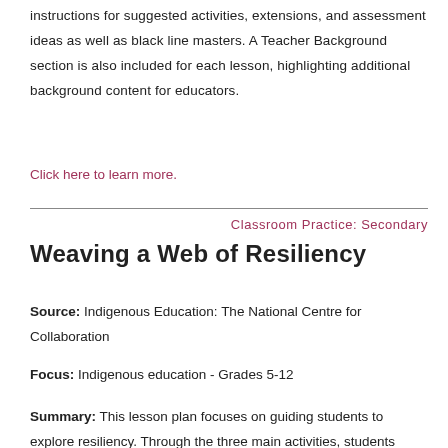instructions for suggested activities, extensions, and assessment ideas as well as black line masters. A Teacher Background section is also included for each lesson, highlighting additional background content for educators.
Click here to learn more.
Classroom Practice: Secondary
Weaving a Web of Resiliency
Source: Indigenous Education: The National Centre for Collaboration
Focus: Indigenous education - Grades 5-12
Summary: This lesson plan focuses on guiding students to explore resiliency. Through the three main activities, students